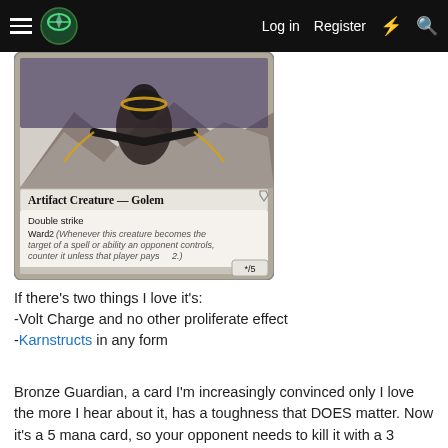≡  [Logo]  Log in  Register  ⚡  🔍
[Figure (photo): Magic: The Gathering card image for Bronze Guardian – Artifact Creature Golem with Double strike, Ward 2, and other abilities, power */5]
If there's two things I love it's:
-Volt Charge and no other proliferate effect
-Karnstructs in any form
Bronze Guardian, a card I'm increasingly convinced only I love the more I hear about it, has a toughness that DOES matter. Now it's a 5 mana card, so your opponent needs to kill it with a 3 mana removal spell for it to be trading neutrally on mana. This can happen, there's plenty of playable 3 mana removal spells, and maybe your cube is all